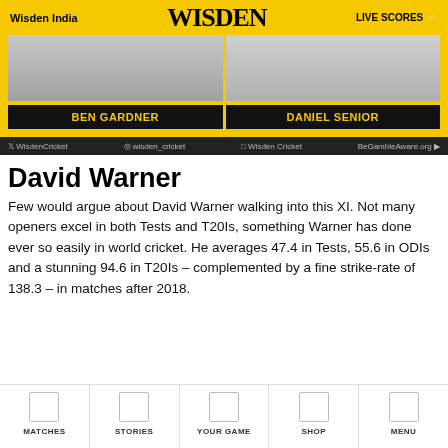Wisden India | WISDEN | LIVE SCORES
[Figure (screenshot): Yellow banner with two photo slots for Ben Gardner and Daniel Senior, with black name label bars below]
WisdenCricket | wisden_cricket | Wisden Cricket | BeGambleAware.org
David Warner
Few would argue about David Warner walking into this XI. Not many openers excel in both Tests and T20Is, something Warner has done ever so easily in world cricket. He averages 47.4 in Tests, 55.6 in ODIs and a stunning 94.6 in T20Is – complemented by a fine strike-rate of 138.3 – in matches after 2018.
MATCHES | STORIES | YOUR GAME | SHOP | MENU